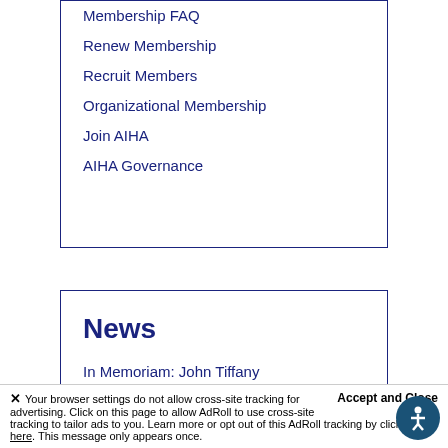Membership FAQ
Renew Membership
Recruit Members
Organizational Membership
Join AIHA
AIHA Governance
News
In Memoriam: John Tiffany
Your browser settings do not allow cross-site tracking for advertising. Click on this page to allow AdRoll to use cross-site tracking to tailor ads to you. Learn more or opt out of this AdRoll tracking by clicking here. This message only appears once.